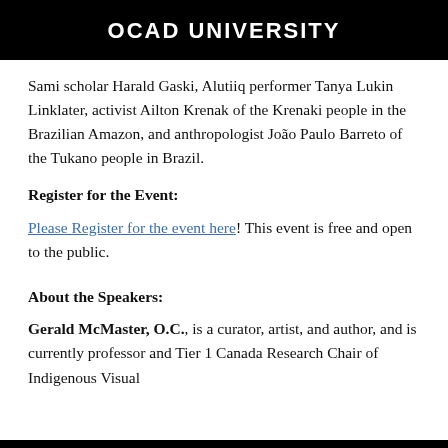OCAD UNIVERSITY
Sami scholar Harald Gaski, Alutiiq performer Tanya Lukin Linklater, activist Ailton Krenak of the Krenaki people in the Brazilian Amazon, and anthropologist João Paulo Barreto of the Tukano people in Brazil.
Register for the Event:
Please Register for the event here! This event is free and open to the public.
About the Speakers:
Gerald McMaster, O.C., is a curator, artist, and author, and is currently professor and Tier 1 Canada Research Chair of Indigenous Visual